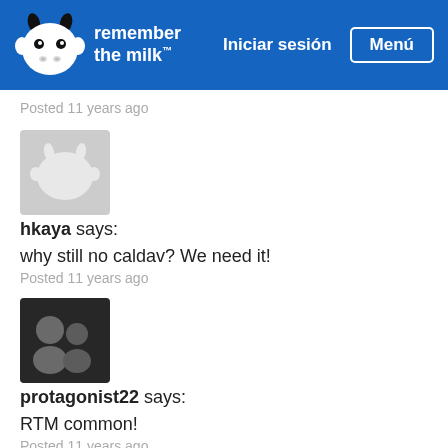[Figure (screenshot): Remember the Milk website header with logo, 'Iniciar sesión' link, and 'Menú' button on blue background]
Posted 11 years ago
[Figure (photo): User avatar: gray cow icon placeholder]
hkaya says:
why still no caldav? We need it!
Posted 11 years ago
[Figure (photo): User avatar: black and white photo of two people]
protagonist22 says:
RTM common!
Posted 11 years ago